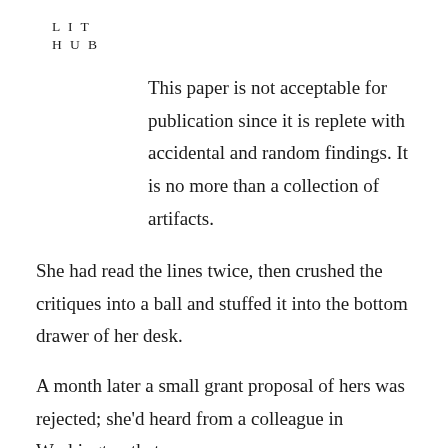LIT
HUB
This paper is not acceptable for publication since it is replete with accidental and random findings. It is no more than a collection of artifacts.
She had read the lines twice, then crushed the critiques into a ball and stuffed it into the bottom drawer of her desk.
A month later a small grant proposal of hers was rejected; she'd heard from a colleague in Washington that